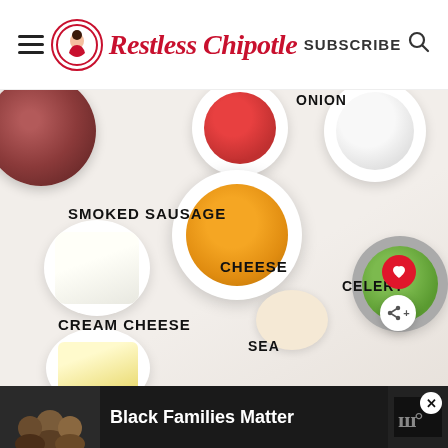Restless Chipotle — SUBSCRIBE
[Figure (photo): Overhead flat-lay photo of ingredients in white bowls on a marble surface: smoked sausage slices, red bell pepper, diced onion, shredded cheddar cheese, cream cheese block, diced celery, seasoning spices, butter pats. Each bowl is labeled with text overlays: SMOKED SAUSAGE, CHEESE, ONION, CELERY, CREAM CHEESE, SEASONING (partially shown as SEA...), BUTTER. Social sharing buttons (heart, share) visible on right side. 'WHAT'S NEXT → Crockpot Ranch...' preview card overlaid bottom-right.]
WHAT'S NEXT → Crockpot Ranch...
Black Families Matter